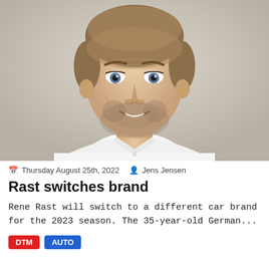[Figure (photo): Portrait photo of a smiling man with short brown hair and stubble beard, wearing a white shirt, against a light beige/cream background. The photo is cropped from the chest up.]
Thursday August 25th, 2022   Jens Jensen
Rast switches brand
Rene Rast will switch to a different car brand for the 2023 season. The 35-year-old German...